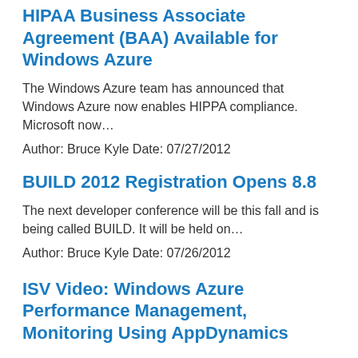HIPAA Business Associate Agreement (BAA) Available for Windows Azure
The Windows Azure team has announced that Windows Azure now enables HIPPA compliance. Microsoft now…
Author: Bruce Kyle Date: 07/27/2012
BUILD 2012 Registration Opens 8.8
The next developer conference will be this fall and is being called BUILD. It will be held on…
Author: Bruce Kyle Date: 07/26/2012
ISV Video: Windows Azure Performance Management, Monitoring Using AppDynamics